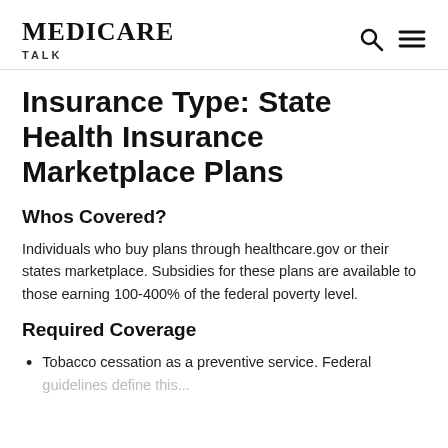MEDICARE TALK
Insurance Type: State Health Insurance Marketplace Plans
Whos Covered?
Individuals who buy plans through healthcare.gov or their states marketplace. Subsidies for these plans are available to those earning 100-400% of the federal poverty level.
Required Coverage
Tobacco cessation as a preventive service. Federal guidelines define this...